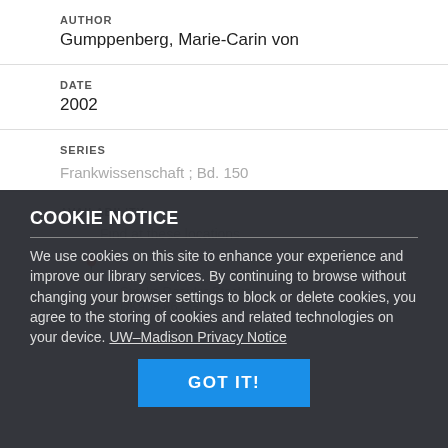AUTHOR
Gumppenberg, Marie-Carin von
DATE
2002
SERIES
Frankwissenschaft ; Bd. 150
AVAILABILITY
Find at these locations
Stacks Regular Stacks
DK908.867 G...
COOKIE NOTICE
We use cookies on this site to enhance your experience and improve our library services. By continuing to browse without changing your browser settings to block or delete cookies, you agree to the storing of cookies and related technologies on your device. UW–Madison Privacy Notice
GOT IT!